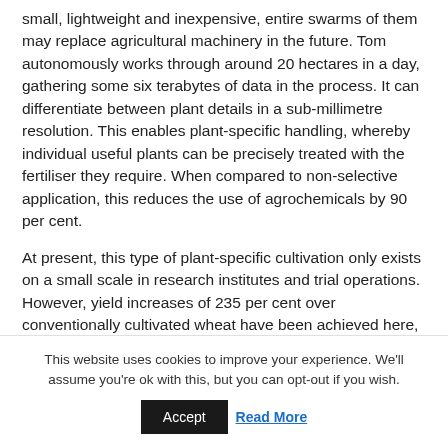small, lightweight and inexpensive, entire swarms of them may replace agricultural machinery in the future. Tom autonomously works through around 20 hectares in a day, gathering some six terabytes of data in the process. It can differentiate between plant details in a sub-millimetre resolution. This enables plant-specific handling, whereby individual useful plants can be precisely treated with the fertiliser they require. When compared to non-selective application, this reduces the use of agrochemicals by 90 per cent.
At present, this type of plant-specific cultivation only exists on a small scale in research institutes and trial operations. However, yield increases of 235 per cent over conventionally cultivated wheat have been achieved here,
This website uses cookies to improve your experience. We'll assume you're ok with this, but you can opt-out if you wish. Accept Read More